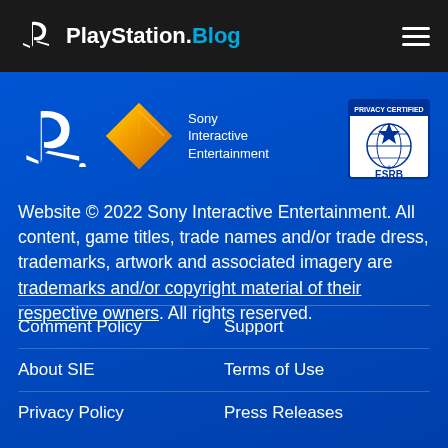PlayStation.Blog
[Figure (logo): PlayStation logo (white), Sony Interactive Entertainment diamond logo (orange/gold), Sony Interactive Entertainment text, ESRB Privacy Certified badge]
Website © 2022 Sony Interactive Entertainment. All content, game titles, trade names and/or trade dress, trademarks, artwork and associated imagery are trademarks and/or copyright material of their respective owners. All rights reserved.
Comment Policy
Support
About SIE
Terms of Use
Privacy Policy
Press Releases